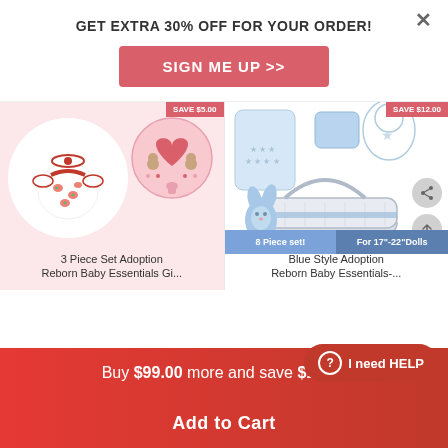GET EXTRA 30% OFF FOR YOUR ORDER!
SIGN ME UP >>
[Figure (photo): Left product: 3 Piece Set Adoption Reborn Baby Essentials Girl clothing with watermelon print romper and headband in circle, and pink heart pacifier. Pink background. Save badge top right.]
[Figure (photo): Right product: Blue Style Adoption Reborn Baby Essentials set showing blue clothing items, bib, diaper, bunny plush, and Moses basket carrier. White background. Save $12.00 badge. 8 Piece set / For 17"-22" Dolls bar at bottom.]
3 Piece Set Adoption
Reborn Baby Essentials Gi...
Blue Style Adoption
Reborn Baby Essentials-...
Buy $99.00 more and save $10.00
I need HELP
Add to Cart